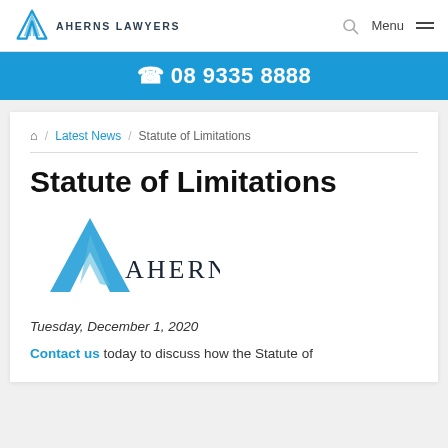AHERNS LAWYERS — Menu
08 9335 8888
Home / Latest News / Statute of Limitations
Statute of Limitations
[Figure (logo): Aherns Lawyers logo — teal geometric mountain/arrow mark above the word AHERNS in dark serif]
Tuesday, December 1, 2020
Contact us today to discuss how the Statute of